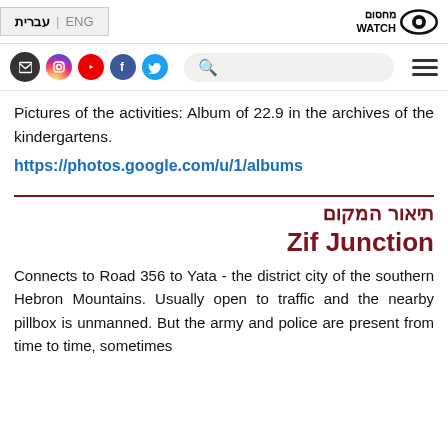עברית | ENG — Machsom Watch logo
Pictures of the activities: Album of 22.9 in the archives of the kindergartens.
https://photos.google.com/u/1/albums
תיאור המקום
Zif Junction
Connects to Road 356 to Yata - the district city of the southern Hebron Mountains. Usually open to traffic and the nearby pillbox is unmanned. But the army and police are present from time to time, sometimes